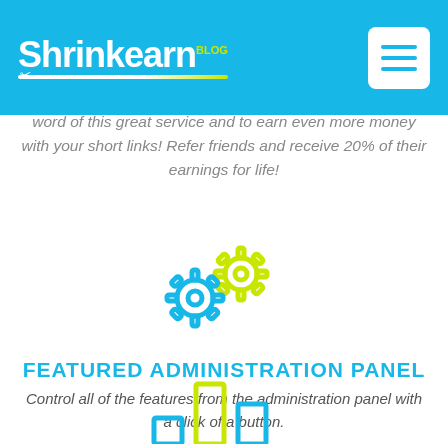Shrinkearn.com
word of this great service and to earn even more money with your short links! Refer friends and receive 20% of their earnings for life!
[Figure (illustration): Two interlocking gear cog icons, one blue and one yellow-green/lime colored, representing an administration panel feature]
FEATURED ADMINISTRATION PANEL
Control all of the features from the administration panel with a click of a button.
[Figure (illustration): Bar chart icon with three bars in blue and lime green colors, partially visible at the bottom of the page]